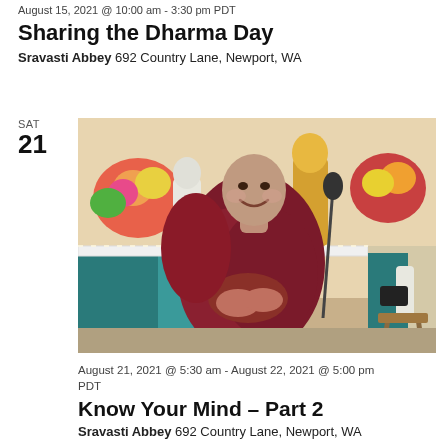August 15, 2021 @ 10:00 am - 3:30 pm PDT
Sharing the Dharma Day
Sravasti Abbey 692 Country Lane, Newport, WA
SAT
21
[Figure (photo): A Buddhist nun in maroon robes seated and smiling in front of a shrine decorated with flowers and golden Buddha statues. A microphone stand is visible nearby.]
August 21, 2021 @ 5:30 am - August 22, 2021 @ 5:00 pm PDT
Know Your Mind – Part 2
Sravasti Abbey 692 Country Lane, Newport, WA